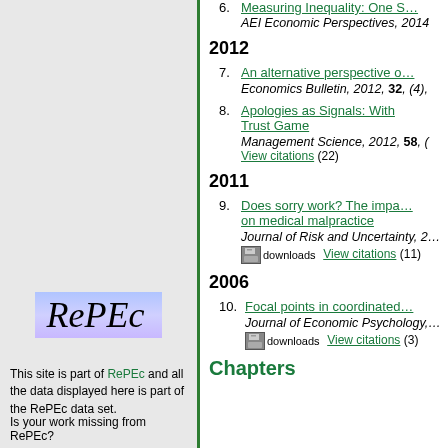6. Measuring Inequality: One S... AEI Economic Perspectives, 2014
2012
7. An alternative perspective o... Economics Bulletin, 2012, 32, (4),
8. Apologies as Signals: With Trust Game Management Science, 2012, 58, ( View citations (22)
2011
9. Does sorry work? The impa... on medical malpractice Journal of Risk and Uncertainty, 2 downloads View citations (11)
2006
10. Focal points in coordinated... Journal of Economic Psychology, downloads View citations (3)
Chapters
[Figure (logo): RePEc logo with italic serif text on blue/purple gradient background]
This site is part of RePEc and all the data displayed here is part of the RePEc data set.
Is your work missing from RePEc?